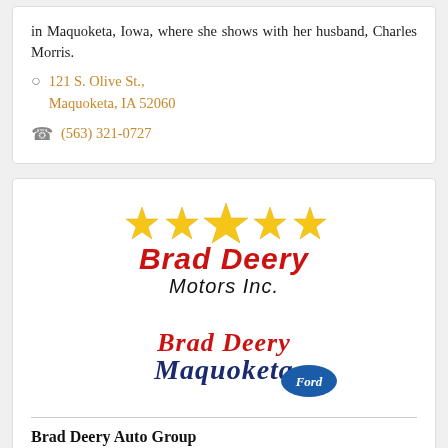in Maquoketa, Iowa, where she shows with her husband, Charles Morris.
121 S. Olive St., Maquoketa, IA 52060
(563) 321-0727
[Figure (logo): Brad Deery Motors Inc. logo with five gold stars above the red and black text, and Brad Deery Maquoketa Ford logo below]
Brad Deery Auto Group
Experience the Deery Difference at Brad Deery Motors & Brad Deery Ford. Dedicated to serving our community and helping you drive home happy.
112 N. 2nd St.